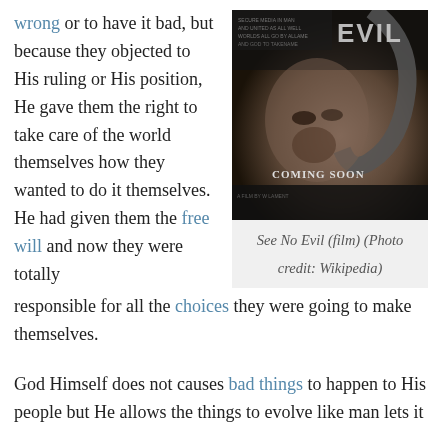wrong or to have it bad, but because they objected to His ruling or His position, He gave them the right to take care of the world themselves how they wanted to do it themselves. He had given them the free will and now they were totally responsible for all the choices they were going to make themselves.
[Figure (photo): Movie poster for 'See No Evil' showing a dark, close-up face of a menacing man with the text 'EVIL' and 'COMING SOON' visible.]
See No Evil (film) (Photo credit: Wikipedia)
God Himself does not causes bad things to happen to His people but He allows the things to evolve like man lets it